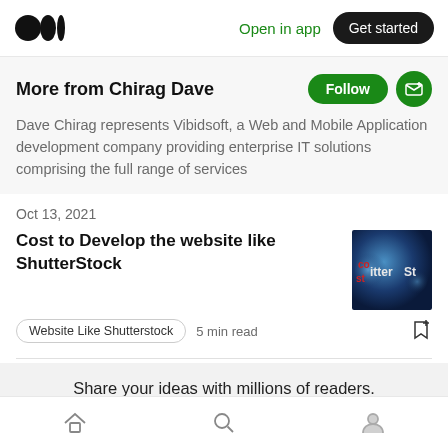Open in app  Get started
More from Chirag Dave
Dave Chirag represents Vibidsoft, a Web and Mobile Application development company providing enterprise IT solutions comprising the full range of services
Oct 13, 2021
Cost to Develop the website like ShutterStock
[Figure (photo): Thumbnail image showing ShutterStock logo/brand text on dark blue bokeh background]
Website Like Shutterstock  5 min read
Share your ideas with millions of readers.
Write on Medium
Home  Search  Profile (bottom navigation)